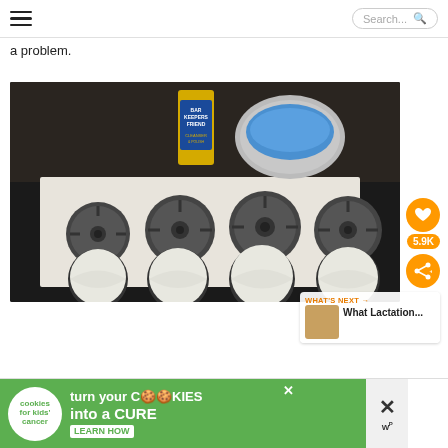Search...
a problem.
[Figure (photo): Kitchen countertop with Bar Keepers Friend cleanser can, a bowl with blue cleaning powder, and four gas stove burner grates arranged on paper towels — top row showing the metal grate frames, bottom row showing the underside caps coated with white cleaning powder.]
WHAT'S NEXT → What Lactation...
[Figure (advertisement): Cookies for Kids' Cancer advertisement — green background with white circular logo, text 'turn your COOKIES into a CURE LEARN HOW' with close button and WP logo on right side.]